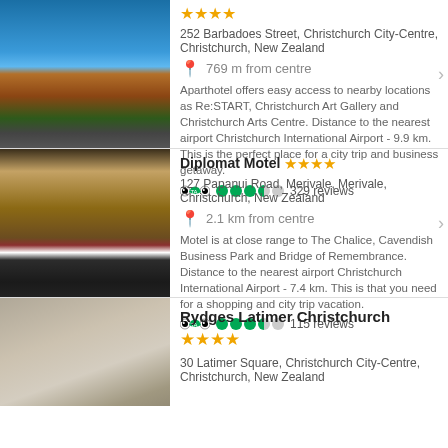[Figure (photo): Photo of a red-roofed hotel building with blue sky]
252 Barbadoes Street, Christchurch City-Centre, Christchurch, New Zealand
769 m from centre
Aparthotel offers easy access to nearby locations as Re:START, Christchurch Art Gallery and Christchurch Arts Centre. Distance to the nearest airport Christchurch International Airport - 9.9 km. This is the perfect place for a city trip and business getaway.
329 reviews
[Figure (photo): Photo of a hotel room with red pillows and warm lighting]
Diplomat Motel ★★★★
127 Papanui Road, Merivale, Merivale, Christchurch, New Zealand
2.1 km from centre
Motel is at close range to The Chalice, Cavendish Business Park and Bridge of Remembrance. Distance to the nearest airport Christchurch International Airport - 7.4 km. This is that you need for a shopping and city trip vacation.
115 reviews
[Figure (photo): Photo of a hotel room with textured wall panels]
Rydges Latimer Christchurch ★★★★
30 Latimer Square, Christchurch City-Centre, Christchurch, New Zealand